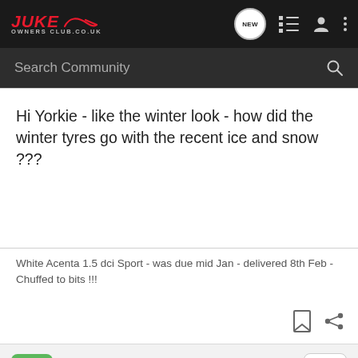JUKE OWNERS CLUB.CO.UK
Hi Yorkie - like the winter look - how did the winter tyres go with the recent ice and snow ???
White Acenta 1.5 dci Sport - was due mid Jan - delivered 8th Feb - Chuffed to bits !!!
Yorkie · Registered
Joined Nov 3, 2010 · 88 Posts
Discussion Starter · #7 · Dec 13, 2010